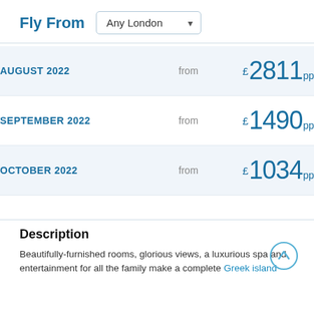Fly From  Any London
| Month | From | Price |
| --- | --- | --- |
| AUGUST 2022 | from | £2811 pp |
| SEPTEMBER 2022 | from | £1490 pp |
| OCTOBER 2022 | from | £1034 pp |
Description
Beautifully-furnished rooms, glorious views, a luxurious spa and entertainment for all the family make a complete Greek island